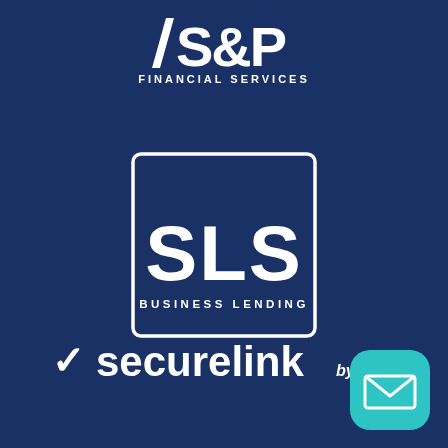[Figure (logo): S&P Financial Services logo in white at top center on dark navy background]
[Figure (logo): SLS Business Lending logo inside white-bordered rectangle, white text on navy background]
[Figure (logo): securelink by SLS logo with white checkmark, bold white securelink text and smaller 'by SLS' text]
[Figure (illustration): Teal/cyan rounded square button with white envelope/mail icon in bottom right corner]